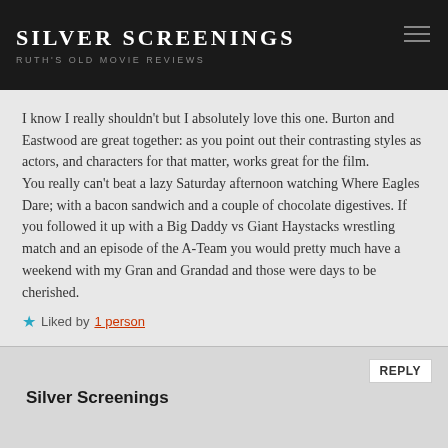SILVER SCREENINGS
RUTH'S OLD MOVIE REVIEWS
I know I really shouldn't but I absolutely love this one. Burton and Eastwood are great together: as you point out their contrasting styles as actors, and characters for that matter, works great for the film.
You really can't beat a lazy Saturday afternoon watching Where Eagles Dare; with a bacon sandwich and a couple of chocolate digestives. If you followed it up with a Big Daddy vs Giant Haystacks wrestling match and an episode of the A-Team you would pretty much have a weekend with my Gran and Grandad and those were days to be cherished.
★ Liked by 1 person
Silver Screenings